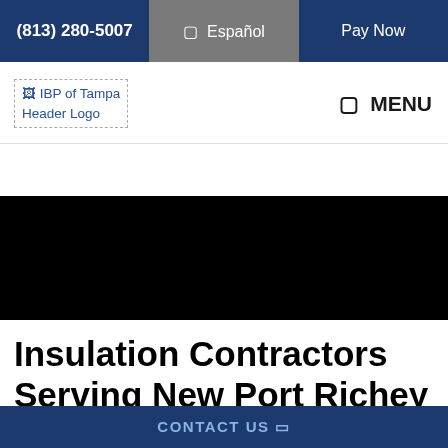(813) 280-5007  Español  Pay Now
[Figure (logo): IBP of Tampa Header Logo placeholder image with text]
☰ MENU
[Figure (photo): Black hero image band]
Insulation Contractors Serving New Port Richey
CONTACT US ❯